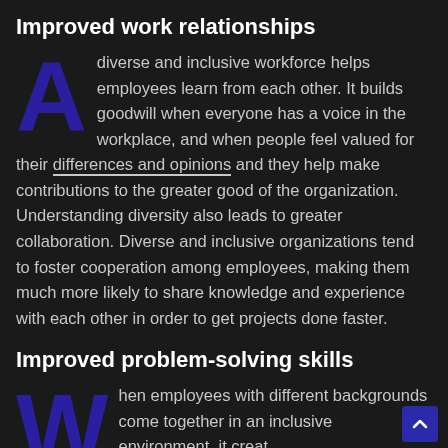Improved work relationships
A diverse and inclusive workforce helps employees learn from each other. It builds goodwill when everyone has a voice in the workplace, and when people feel valued for their differences and opinions and they help make contributions to the greater good of the organization. Understanding diversity also leads to greater collaboration. Diverse and inclusive organizations tend to foster cooperation among employees, making them much more likely to share knowledge and experience with each other in order to get projects done faster.
Improved problem-solving skills
When employees with different backgrounds come together in an inclusive environment, it creat…